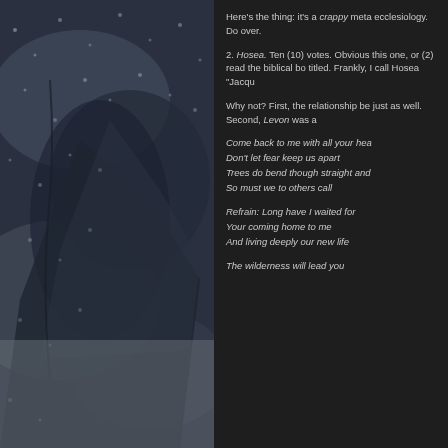[Figure (photo): A dark, moody photograph showing a rain-covered window with water droplets and a blurred dark background with stormy clouds and shadows.]
Here's the thing: it's a crappy meta ecclesiology. Do over.
2. Hosea. Ten (10) votes. Obviously this one, or (2) read the biblical bo titled. Frankly, I call Hosea "Jacqu
Why not? First, the relationship be just as well. Second, Levon was a
Come back to me with all your hea Don't let fear keep us apart Trees do bend though straight and So must we to others call
Refrain: Long have I waited for Your coming home to me And living deeply our new life
The wilderness will lead you